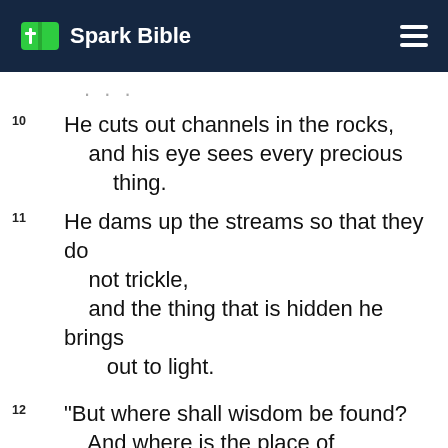Spark Bible
10 He cuts out channels in the rocks, and his eye sees every precious thing.
11 He dams up the streams so that they do not trickle, and the thing that is hidden he brings out to light.
12 “But where shall wisdom be found? And where is the place of